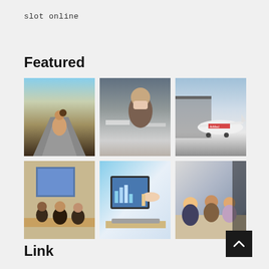slot online
Featured
[Figure (photo): Six photo grid: top row shows couple on scooter on a road, woman in mask at airport, AirMed airplane on tarmac; bottom row shows business meeting with projection screen, person pointing at computer monitor with charts, group of people at conference table]
Link